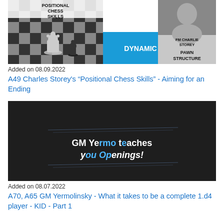[Figure (photo): Chess course thumbnail showing chess pieces on a board (black and white) on the left, a blue panel with 'DYNAMIC' in white bold text center, and a gray panel on the right with 'FM CHARLIE STOREY' and 'PAWN STRUCTURE' in bold black text. Top portion shows 'POSITIONAL CHESS SKILLS' text.]
Added on 08.09.2022
A49 Charles Storey's “Positional Chess Skills” - Aiming for an Ending
[Figure (photo): Dark background thumbnail with text 'GM Yermo teaches you Openings!' in white and blue stylized font, with decorative horizontal lines above and below the text.]
Added on 08.07.2022
A70, A65 GM Yermolinsky - What it takes to be a complete 1.d4 player - KID - Part 1